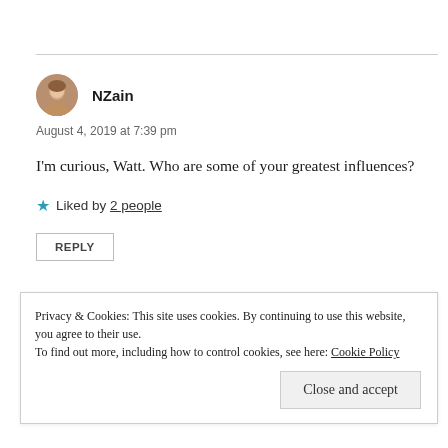NZain
August 4, 2019 at 7:39 pm
I'm curious, Watt. Who are some of your greatest influences?
★ Liked by 2 people
REPLY
Privacy & Cookies: This site uses cookies. By continuing to use this website, you agree to their use. To find out more, including how to control cookies, see here: Cookie Policy
Close and accept